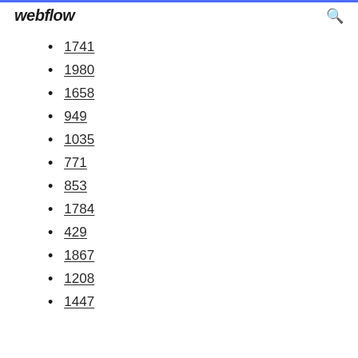webflow
1741
1980
1658
949
1035
771
853
1784
429
1867
1208
1447